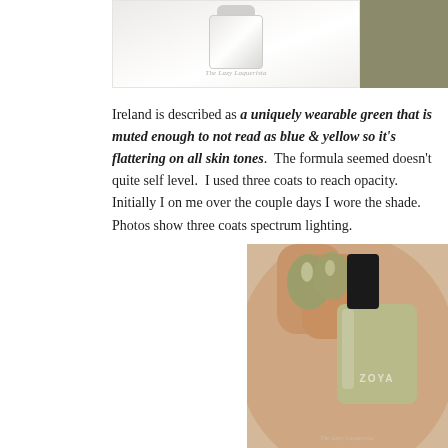[Figure (photo): Top center: nail polish bottle on white background with 'The Lazy Laquerista' watermark. Top right: swatch of muted olive/khaki green color.]
Ireland is described as a uniquely wearable green that is muted enough to not read as blue & yellow so it's flattering on all skin tones. The formula seemed doesn't quite self level. I used three coats to reach opacity. Initially I on me over the couple days I wore the shade. Photos show three coats spectrum lighting.
[Figure (photo): Close-up photo of hand with nails painted in muted olive/sage green Zoya nail polish, holding the Zoya nail polish bottle labeled 'ZOYA'. Watermark 'The Lazy Laquerista' visible at bottom.]